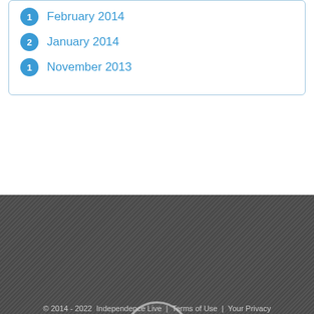1  February 2014
2  January 2014
1  November 2013
Follow Us!
[Figure (illustration): Social media icon circles: Twitter, Facebook, YouTube, and two empty circles for additional social links]
© 2014 - 2022  Independence Live  |  Terms of Use  |  Your Privacy